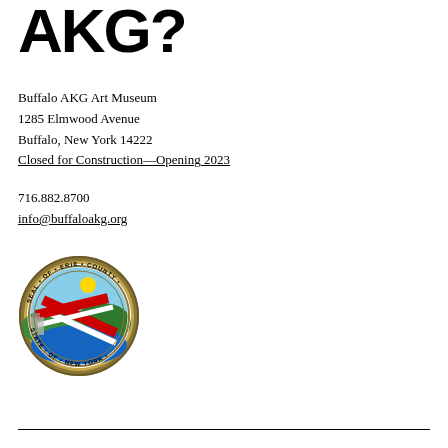AKG?
Buffalo AKG Art Museum
1285 Elmwood Avenue
Buffalo, New York 14222
Closed for Construction—Opening 2023
716.882.8700
info@buffaloakg.org
[Figure (logo): Seal of Erie County, State of New York — circular seal with landscape imagery, red and white diagonal stripes, and text around the border reading SEAL OF ERIE COUNTY, STATE OF NEW YORK]